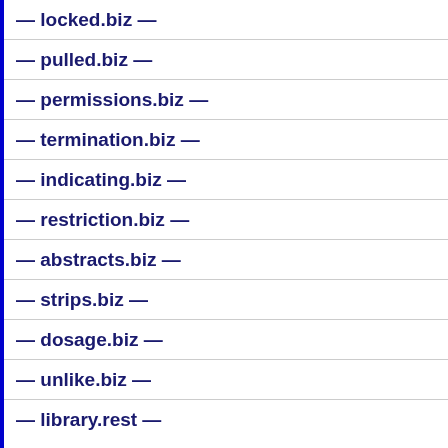— locked.biz —
— pulled.biz —
— permissions.biz —
— termination.biz —
— indicating.biz —
— restriction.biz —
— abstracts.biz —
— strips.biz —
— dosage.biz —
— unlike.biz —
— library.rest —